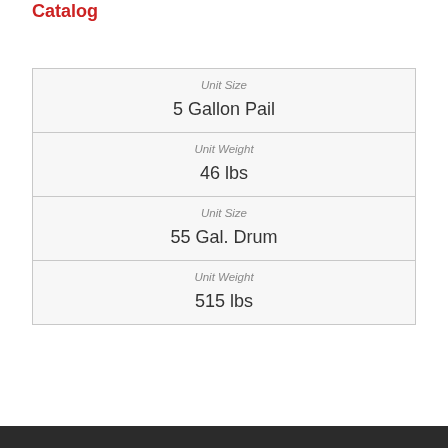Catalog
| Unit Size | 5 Gallon Pail |
| Unit Weight | 46 lbs |
| Unit Size | 55 Gal. Drum |
| Unit Weight | 515 lbs |